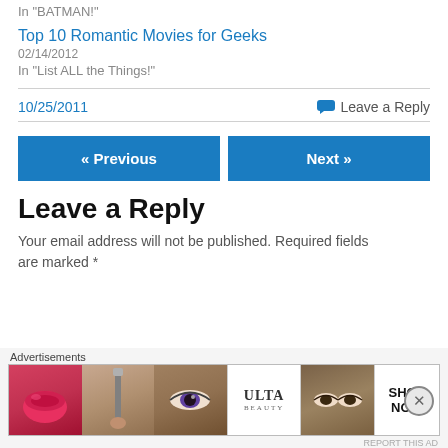In "BATMAN!"
Top 10 Romantic Movies for Geeks
02/14/2012
In "List ALL the Things!"
10/25/2011
Leave a Reply
Leave a Reply
Your email address will not be published. Required fields are marked *
[Figure (other): Advertisement banner for ULTA Beauty showing makeup imagery with lips, makeup brush, eye, ULTA logo, eye close-up, and SHOP NOW text]